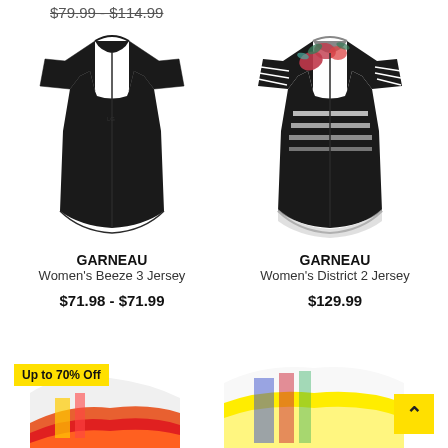$79.99 - $114.99
[Figure (photo): Black women's cycling jersey (Garneau Women's Beeze 3 Jersey)]
GARNEAU
Women's Beeze 3 Jersey
$71.98 - $71.99
[Figure (photo): Black women's cycling jersey with floral and stripe pattern (Garneau Women's District 2 Jersey)]
GARNEAU
Women's District 2 Jersey
$129.99
Up to 70% Off
[Figure (photo): Partial view of colorful cycling jersey at bottom left]
[Figure (photo): Partial view of colorful cycling jersey at bottom right]